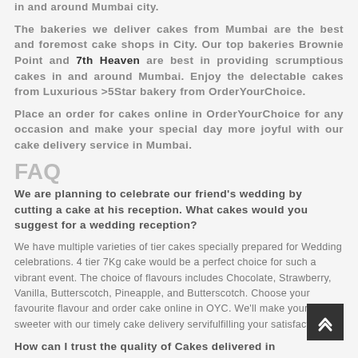in and around Mumbai city.
The bakeries we deliver cakes from Mumbai are the best and foremost cake shops in City. Our top bakeries Brownie Point and 7th Heaven are best in providing scrumptious cakes in and around Mumbai. Enjoy the delectable cakes from Luxurious >5Star bakery from OrderYourChoice.
Place an order for cakes online in OrderYourChoice for any occasion and make your special day more joyful with our cake delivery service in Mumbai.
FAQ
We are planning to celebrate our friend's wedding by cutting a cake at his reception. What cakes would you suggest for a wedding reception?
We have multiple varieties of tier cakes specially prepared for Wedding celebrations. 4 tier 7Kg cake would be a perfect choice for such a vibrant event. The choice of flavours includes Chocolate, Strawberry, Vanilla, Butterscotch, Pineapple, and Butterscotch. Choose your favourite flavour and order cake online in OYC. We'll make your event sweeter with our timely cake delivery servi... fulfilling your satisfaction.
How can I trust the quality of Cakes delivered in